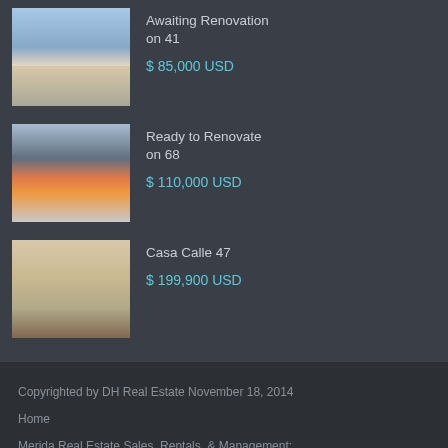[Figure (photo): Exterior street view of a property awaiting renovation]
Awaiting Renovation on 41
$ 85,000 USD
[Figure (photo): Exterior street view of a colorful property ready to renovate on 68]
Ready to Renovate on 68
$ 110,000 USD
[Figure (photo): Interior room of Casa Calle 47]
Casa Calle 47
$ 199,900 USD
Copyrighted by DH Real Estate November 18, 2014
Home
Merida Real Estate Sales, Rentals, & Management:
DH Real Estate – Real Estate Agents:
Contact Us about Merida Properties: